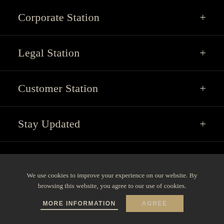Corporate Station +
Legal Station +
Customer Station +
Stay Updated +
We use cookies to improve your experience on our website. By browsing this website, you agree to our use of cookies.
MORE INFORMATION
AGREE